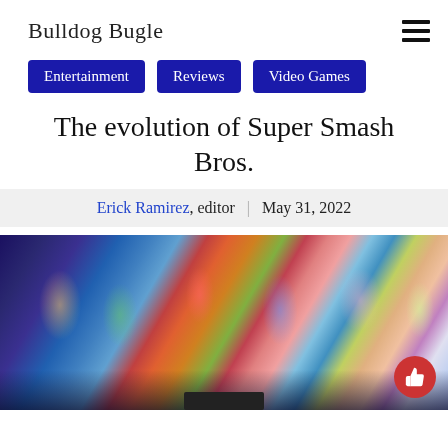Bulldog Bugle
Entertainment
Reviews
Video Games
The evolution of Super Smash Bros.
Erick Ramirez, editor | May 31, 2022
[Figure (photo): Wide panoramic image showing all Super Smash Bros. Ultimate characters grouped together in a promotional/artwork style image, displayed on a monitor screen]